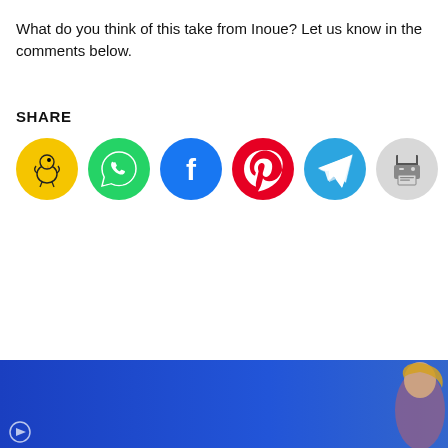What do you think of this take from Inoue? Let us know in the comments below.
SHARE
[Figure (infographic): Row of 7 circular social share buttons: Bluesky (yellow), WhatsApp (green), Facebook (dark blue), Pinterest (red), Telegram (light blue), Print (light gray), Twitter/X (cyan)]
[Figure (photo): Advertisement banner with blue background and a woman with blonde hair visible on the right side]